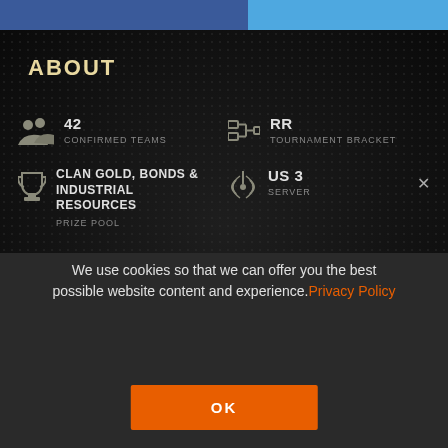ABOUT
42 CONFIRMED TEAMS
RR TOURNAMENT BRACKET
CLAN GOLD, BONDS & INDUSTRIAL RESOURCES PRIZE POOL
US 3 SERVER
MORE ABOUT TOURNAMENT
We use cookies so that we can offer you the best possible website content and experience. Privacy Policy
OK